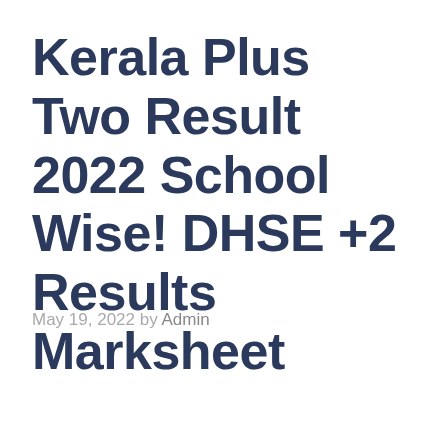Kerala Plus Two Result 2022 School Wise! DHSE +2 Results Marksheet
May 19, 2022 by Admin